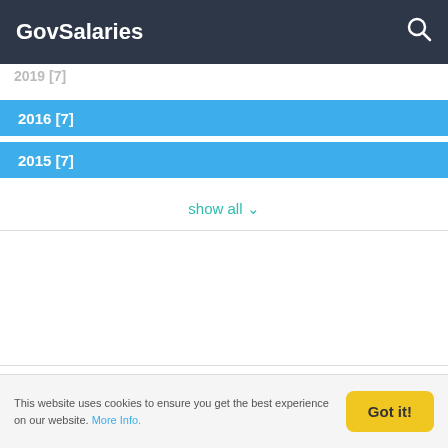GovSalaries
2016 [7]
2015 [7]
show all
Employee search - e.g John Smith
Search
This website uses cookies to ensure you get the best experience on our website. More Info.
Got it!